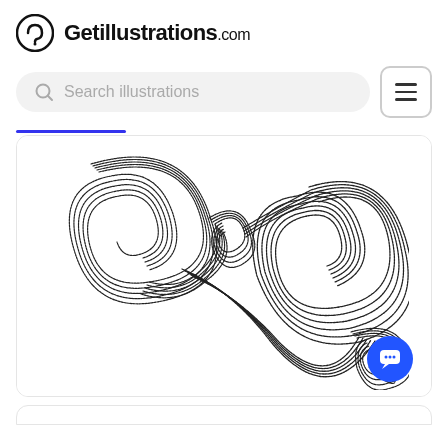Getillustrations.com
Search illustrations
[Figure (illustration): Abstract swirling decorative illustration made of concentric parallel curved lines forming spiral loops and swooshes on white background]
[Figure (illustration): Bottom card peeking, partially visible]